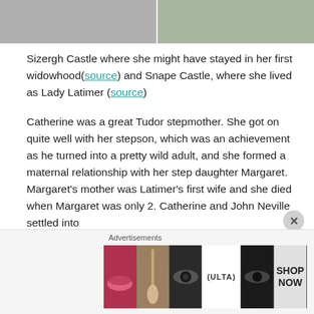[Figure (photo): Two partial photos of castle grounds/driveway, side by side at the top of the page]
Sizergh Castle where she might have stayed in her first widowhood(source) and Snape Castle, where she lived as Lady Latimer (source)
Catherine was a great Tudor stepmother. She got on quite well with her stepson, which was an achievement as he turned into a pretty wild adult, and she formed a maternal relationship with her step daughter Margaret. Margaret’s mother was Latimer’s first wife and she died when Margaret was only 2. Catherine and John Neville settled into
[Figure (advertisement): Ulta Beauty advertisement banner showing makeup/beauty images with SHOP NOW call to action]